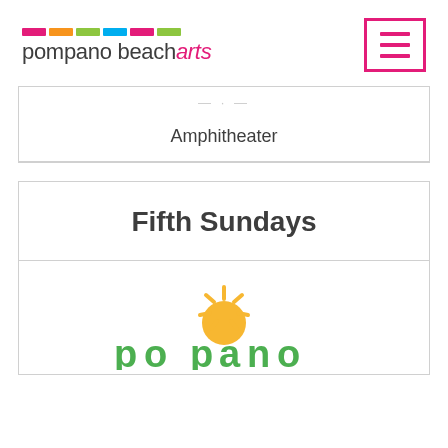[Figure (logo): Pompano Beach Arts logo with colored bars and stylized text 'pompano beacharts']
[Figure (other): Hamburger menu icon (three horizontal lines) inside a pink/magenta bordered square]
Amphitheater
Fifth Sundays
[Figure (logo): Partial Pompano logo with sun icon and green text 'pompano' visible at bottom of page]